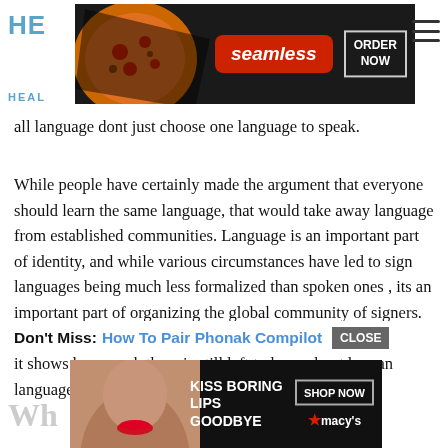[Figure (screenshot): Seamless food delivery advertisement banner with pizza image, seamless logo, and ORDER NOW button]
all language dont just choose one language to speak.
While people have certainly made the argument that everyone should learn the same language, that would take away language from established communities. Language is an important part of identity, and while various circumstances have led to sign languages being much less formalized than spoken ones , its an important part of organizing the global community of signers. International Sign is a fascinating linguistic development, and it shows how much there is still left to learn about human language.
Don't Miss: How To Pair Phonak Compilot
[Figure (screenshot): Macy's advertisement banner with 'KISS BORING LIPS GOODBYE' text, face image, and SHOP NOW button]